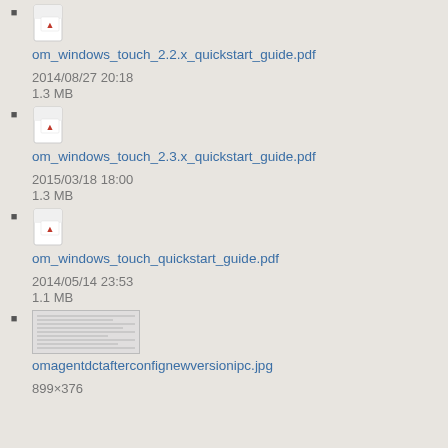om_windows_touch_2.2.x_quickstart_guide.pdf
2014/08/27 20:18
1.3 MB
om_windows_touch_2.3.x_quickstart_guide.pdf
2015/03/18 18:00
1.3 MB
om_windows_touch_quickstart_guide.pdf
2014/05/14 23:53
1.1 MB
omagentdctafterconfignewversionipc.jpg
899×376